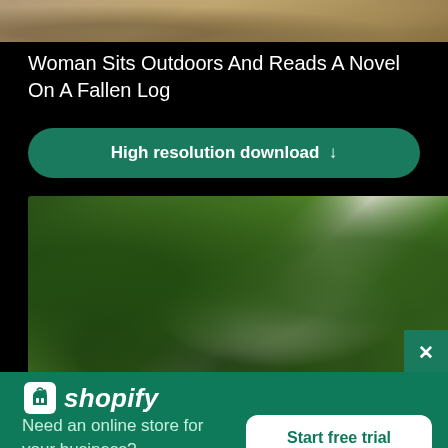[Figure (photo): Top portion of an outdoor nature/landscape photo showing dry ground with rocks and vegetation]
Woman Sits Outdoors And Reads A Novel On A Fallen Log
High resolution download ↓
[Figure (photo): Photo of trees with lush green foliage and a large pale tree trunk in the center]
[Figure (logo): Shopify logo — shopping bag icon and italic bold text 'shopify']
Need an online store for your business?
Start free trial